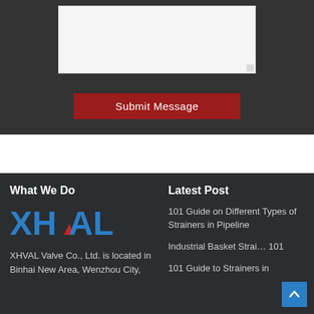[Figure (screenshot): Dark gray form area showing a textarea input field and a red Submit Message button]
What We Do
[Figure (logo): XHVAL logo in blue with a red triangle/caret accent]
XHVAL Valve Co., Ltd. is located in Binhai New Area, Wenzhou City,
Latest Post
101 Guide on Different Types of Strainers in Pipeline
Industrial Basket Strai… 101
101 Guide to Strainers in